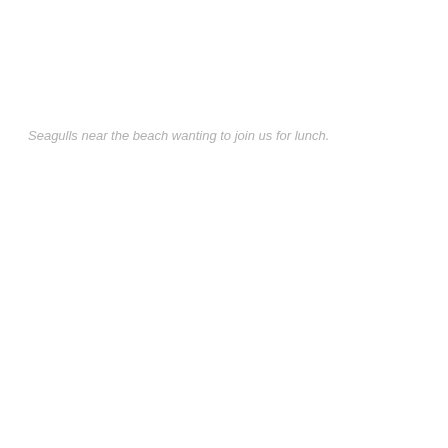Seagulls near the beach wanting to join us for lunch.